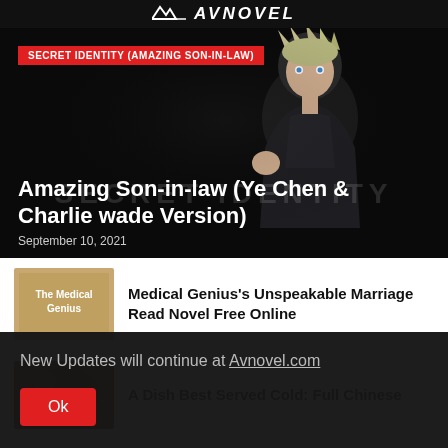AVNOVEL
[Figure (illustration): Hero banner with dark anime character figure on black background with 'SECRET IDENTITY' watermark text]
SECRET IDENTITY (AMAZING SON-IN-LAW)
Amazing Son-in-law (Ye Chen & Charlie wade Version)
September 10, 2021
[Figure (illustration): Book cover thumbnail for The Medical Genius, tan/brown color with white text]
Medical Genius's Unspeakable Marriage Read Novel Free Online
[Figure (illustration): Thumbnail for A Dish Best Served Cold with detailed art]
A Dish Best Served Cold: Full Chinese
New Updates will continue at Avnovel.com
Ok